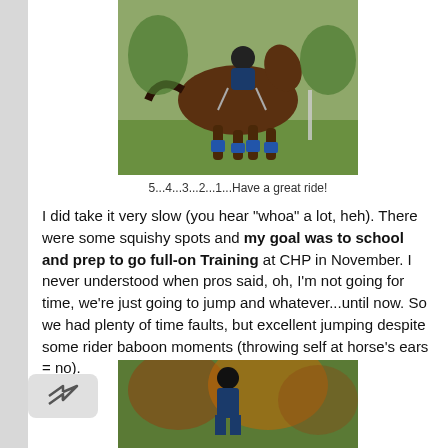[Figure (photo): A brown horse with blue leg wraps cantering across a grass field, with a rider in dark attire on its back.]
5...4...3...2...1...Have a great ride!
I did take it very slow (you hear "whoa" a lot, heh).  There were some squishy spots and my goal was to school and prep to go full-on Training at CHP in November.  I never understood when pros said, oh, I'm not going for time, we're just going to jump and whatever...until now.  So we had plenty of time faults, but excellent jumping despite some rider baboon moments (throwing self at horse's ears = no).
[Figure (photo): A rider in equestrian gear standing among trees and autumn foliage.]